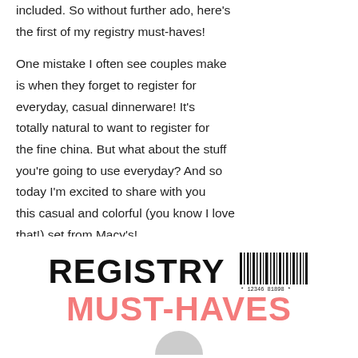included. So without further ado, here's the first of my registry must-haves!
One mistake I often see couples make is when they forget to register for everyday, casual dinnerware! It's totally natural to want to register for the fine china. But what about the stuff you're going to use everyday? And so today I'm excited to share with you this casual and colorful (you know I love that!) set from Macy's!
REGISTRY MUST-HAVES